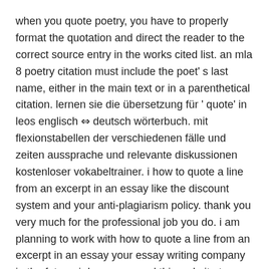when you quote poetry, you have to properly format the quotation and direct the reader to the correct source entry in the works cited list. an mla 8 poetry citation must include the poet' s last name, either in the main text or in a parenthetical citation. lernen sie die übersetzung für ' quote' in leos englisch ⇔ deutsch wörterbuch. mit flexionstabellen der verschiedenen fälle und zeiten aussprache und relevante diskussionen kostenloser vokabeltrainer. i how to quote a line from an excerpt in an essay like the discount system and your anti-plagiarism policy. thank you very much for the professional job you do. i am planning to work with how to quote a line from an excerpt in an essay your essay writing company in the future. i do recommend this website to everyone who wants to receive perfect papers. help with location the sources. · excerpt definition: an excerpt is a short piece of writing or music which is taken from a larger piece. | meaning, pronunciation, translations and examples.
· editor' s note: the following is an excerpt from " abuse and